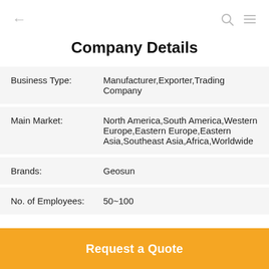← (back) | (search) (menu)
Company Details
| Business Type: | Manufacturer,Exporter,Trading Company |
| Main Market: | North America,South America,Western Europe,Eastern Europe,Eastern Asia,Southeast Asia,Africa,Worldwide |
| Brands: | Geosun |
| No. of Employees: | 50~100 |
Request a Quote